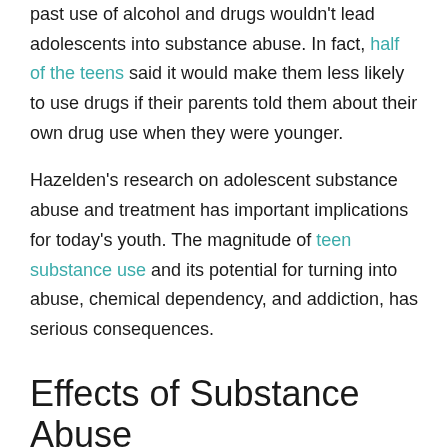past use of alcohol and drugs wouldn't lead adolescents into substance abuse. In fact, half of the teens said it would make them less likely to use drugs if their parents told them about their own drug use when they were younger.
Hazelden's research on adolescent substance abuse and treatment has important implications for today's youth. The magnitude of teen substance use and its potential for turning into abuse, chemical dependency, and addiction, has serious consequences.
Effects of Substance Abuse
Alcohol-related automobile accidents are the leading cause of death and disability among U.S. teens, and substance